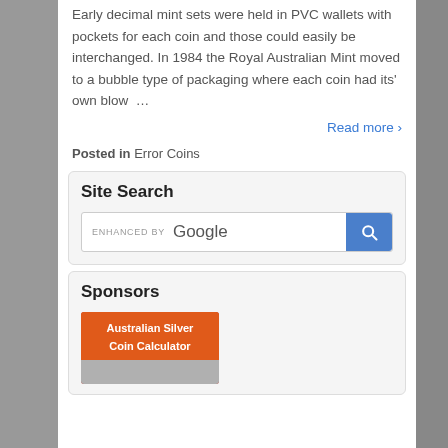Early decimal mint sets were held in PVC wallets with pockets for each coin and those could easily be interchanged. In 1984 the Royal Australian Mint moved to a bubble type of packaging where each coin had its' own blow …
Read more ›
Posted in Error Coins
Site Search
[Figure (screenshot): Google enhanced search bar with blue search button]
Sponsors
[Figure (illustration): Australian Silver Coin Calculator sponsor advertisement with orange header and coin imagery]